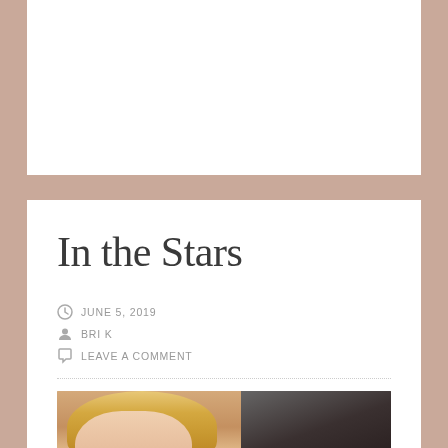In the Stars
JUNE 5, 2019
BRI K
LEAVE A COMMENT
[Figure (photo): A smiling blonde woman photographed indoors with a dark background featuring some text/writing visible behind her.]